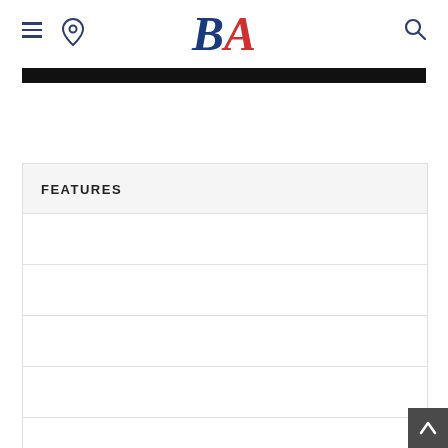BA - Business Alabama
[Figure (logo): BA logo with blue B and red A in italic serif font]
FEATURES
Feature list rows (empty placeholders)